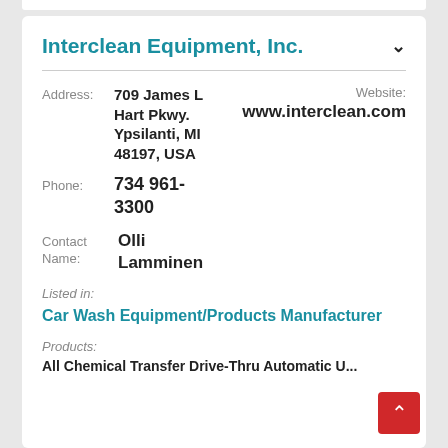Interclean Equipment, Inc.
Address: 709 James L Hart Pkwy. Ypsilanti, MI 48197, USA
Website: www.interclean.com
Phone: 734 961-3300
Contact Name: Olli Lamminen
Listed in:
Car Wash Equipment/Products Manufacturer
Products:
All Chemical Transfer Drive-Thru Automatic U...